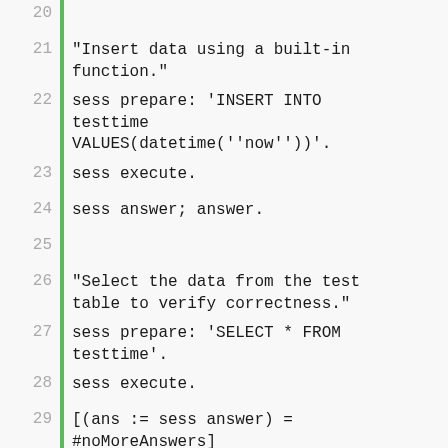20
21  "Insert data using a built-in function."
22  sess prepare: 'INSERT INTO testtime VALUES(datetime(''now''))'.
23  sess execute.
24  sess answer; answer.
25
26  "Select the data from the test table to verify correctness."
27  sess prepare: 'SELECT * FROM testtime'.
28  sess execute.
29  [(ans := sess answer) = #noMoreAnswers]
30       whileFalse: [ans = #noAnswerStream
31                       ifFalse: [results := ans upToEnd]].
32
33  "Convert the retrieved strings to a Timestamp object."